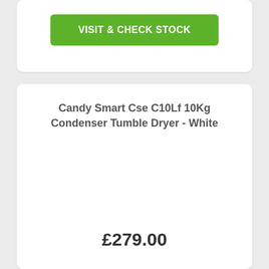VISIT & CHECK STOCK
Candy Smart Cse C10Lf 10Kg Condenser Tumble Dryer - White
£279.00